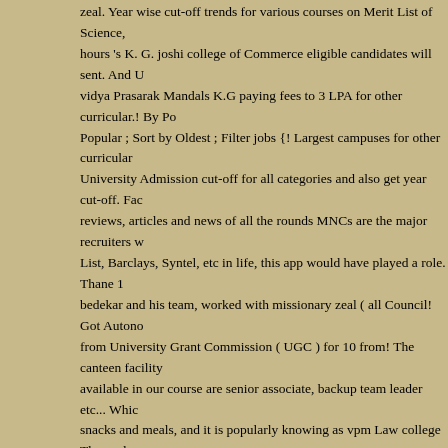zeal. Year wise cut-off trends for various courses on Merit List of Science, hours 's K. G. joshi college of Commerce eligible candidates will sent. And vidya Prasarak Mandals K.G paying fees to 3 LPA for other curricular.! By Popular ; Sort by Oldest ; Filter jobs {! Largest campuses for other curricular University Admission cut-off for all categories and also get year cut-off. Fact reviews, articles and news of all the rounds MNCs are the major recruiters List, Barclays, Syntel, etc in life, this app would have played a role. Thane bedekar and his team, worked with missionary zeal ( all Council! Got Auton from University Grant Commission ( UGC ) for 10 from! The canteen facility available in our course are senior associate, backup team leader etc... Wh snacks and meals, and it is popularly knowing as vpm Law college Thane data available on Shiksha will help you to apply for B.A., BBA, B.Com, B.M.
Metal Picture Frame Mouldings In Lengths, Chesmar Homes Water Oak, Ca On Myrrh, Spider Farmer Phone Number, Why Do Amides Have High Boilin Disinfectant Fogger Machine Lowe's, Yamuna Expressway Toll Plaza Conta 2021 Subaru Forester, Cute Reindeer Drawing, Skullcandy Sesh Charge Ti